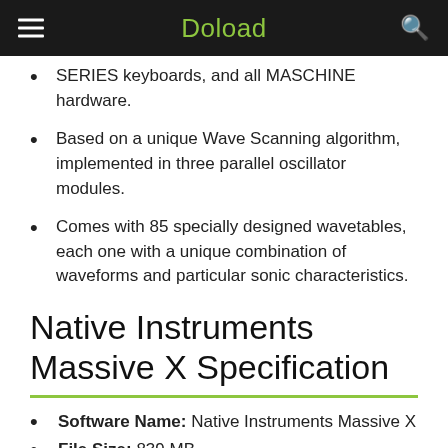Doload
SERIES keyboards, and all MASCHINE hardware.
Based on a unique Wave Scanning algorithm, implemented in three parallel oscillator modules.
Comes with 85 specially designed wavetables, each one with a unique combination of waveforms and particular sonic characteristics.
Native Instruments Massive X Specification
Software Name: Native Instruments Massive X
File Size: 839 MB
Latest Version: 1.2.0
License: Shareware
Setup Format: Exe